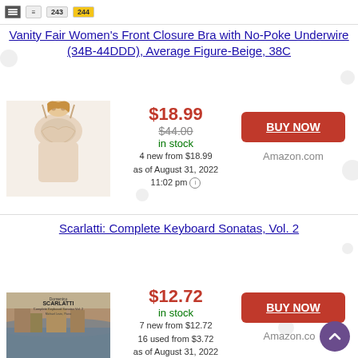[Figure (screenshot): Navigation header bar with icon and page number badges 243 and 244]
Vanity Fair Women's Front Closure Bra with No-Poke Underwire (34B-44DDD), Average Figure-Beige, 38C
[Figure (photo): Product photo of beige bra on model]
$18.99
$44.00
in stock
4 new from $18.99
as of August 31, 2022
11:02 pm
[Figure (other): BUY NOW button (red)]
Amazon.com
Scarlatti: Complete Keyboard Sonatas, Vol. 2
[Figure (photo): Album cover for Scarlatti Complete Keyboard Sonatas Vol. 2]
$12.72
in stock
7 new from $12.72
16 used from $3.72
as of August 31, 2022
11:02 pm
[Figure (other): BUY NOW button (red)]
Amazon.co